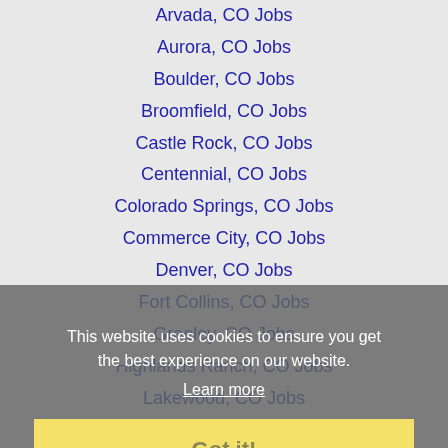Arvada, CO Jobs
Aurora, CO Jobs
Boulder, CO Jobs
Broomfield, CO Jobs
Castle Rock, CO Jobs
Centennial, CO Jobs
Colorado Springs, CO Jobs
Commerce City, CO Jobs
Denver, CO Jobs
Fort Collins, CO Jobs
Greeley, CO Jobs
Highlands Ranch, CO Jobs
Lakewood, CO Jobs
Littleton, CO Jobs
Longmont, CO Jobs
Loveland, CO Jobs
Parker, CO Jobs
Pueblo, CO Jobs
This website uses cookies to ensure you get the best experience on our website. Learn more Got it!